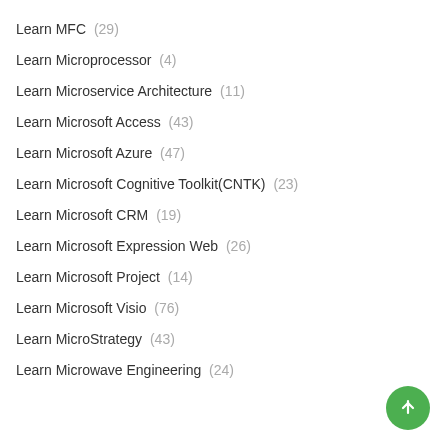Learn MFC (29)
Learn Microprocessor (4)
Learn Microservice Architecture (11)
Learn Microsoft Access (43)
Learn Microsoft Azure (47)
Learn Microsoft Cognitive Toolkit(CNTK) (23)
Learn Microsoft CRM (19)
Learn Microsoft Expression Web (26)
Learn Microsoft Project (14)
Learn Microsoft Visio (76)
Learn MicroStrategy (43)
Learn Microwave Engineering (24)